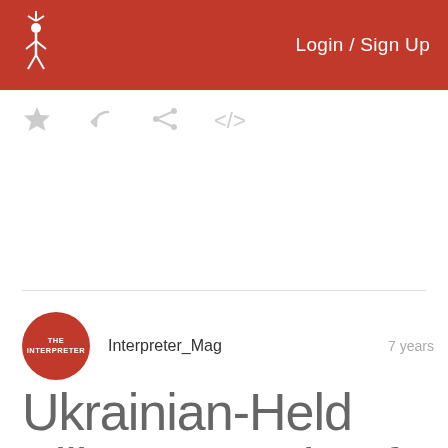Login / Sign Up
[Figure (logo): The Interpreter magazine logo — white figure with antenna on dark red background]
★  ↩  ⟨share⟩  </>
Interpreter_Mag   7 years
Ukrainian-Held Villages North Of